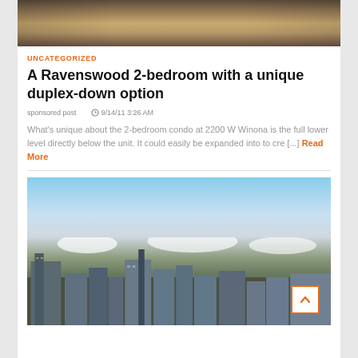[Figure (photo): Interior photo showing a dining room with hardwood floors, a dining table with chairs, and a rug]
UNCATEGORIZED
A Ravenswood 2-bedroom with a unique duplex-down option
sponsored post   9/14/11 3:26 AM
What's unique about the 2-bedroom condo at 2200 W Winona is the full lower level directly below the unit. It could easily be expanded into to cre [...] Read More
[Figure (photo): Aerial cityscape photo showing Chicago skyline with buildings under a partly cloudy sky]